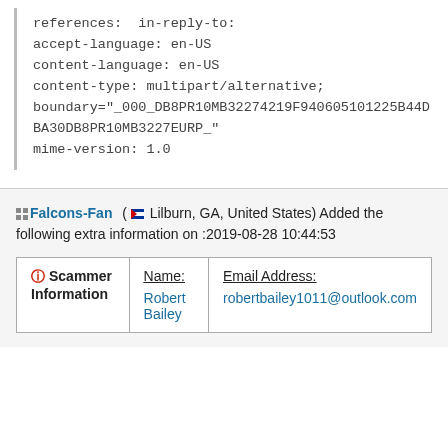references:  in-reply-to:
accept-language: en-US
content-language: en-US
content-type: multipart/alternative;
boundary="_000_DB8PR10MB32274219F940605101225B44D
BA30DB8PR10MB3227EURP_"
mime-version: 1.0
Falcons-Fan ( Lilburn, GA, United States) Added the following extra information on :2019-08-28 10:44:53
|  | Name: | Email Address: |
| --- | --- | --- |
| Scammer Information | Robert
Bailey | robertbailey1011@outlook.com |